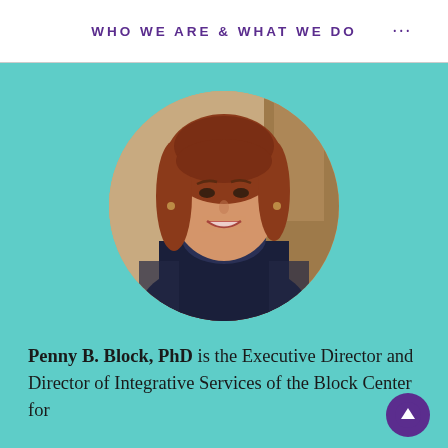WHO WE ARE & WHAT WE DO
[Figure (photo): Circular portrait photo of Penny B. Block, PhD — a woman with reddish-brown hair wearing a dark navy top with cowl neckline, smiling, photographed in an office or clinical setting]
Penny B. Block, PhD is the Executive Director and Director of Integrative Services of the Block Center for